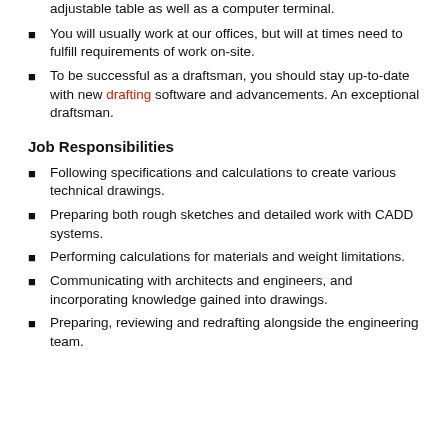adjustable table as well as a computer terminal.
You will usually work at our offices, but will at times need to fulfill requirements of work on-site.
To be successful as a draftsman, you should stay up-to-date with new drafting software and advancements. An exceptional draftsman.
Job Responsibilities
Following specifications and calculations to create various technical drawings.
Preparing both rough sketches and detailed work with CADD systems.
Performing calculations for materials and weight limitations.
Communicating with architects and engineers, and incorporating knowledge gained into drawings.
Preparing, reviewing and redrafting alongside the engineering team.